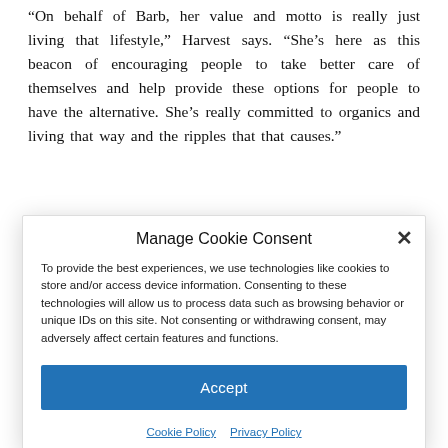“On behalf of Barb, her value and motto is really just living that lifestyle,” Harvest says. “She’s here as this beacon of encouraging people to take better care of themselves and help provide these options for people to have the alternative. She’s really committed to organics and living that way and the ripples that that causes.”
Manage Cookie Consent
To provide the best experiences, we use technologies like cookies to store and/or access device information. Consenting to these technologies will allow us to process data such as browsing behavior or unique IDs on this site. Not consenting or withdrawing consent, may adversely affect certain features and functions.
Accept
Cookie Policy   Privacy Policy